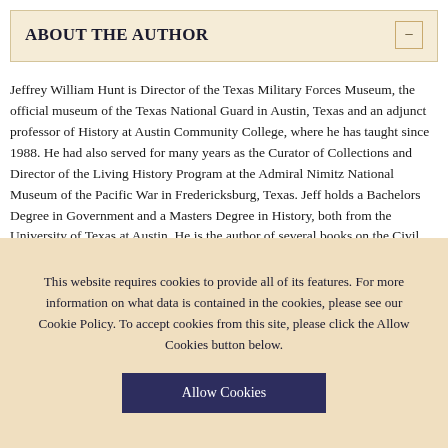ABOUT THE AUTHOR
Jeffrey William Hunt is Director of the Texas Military Forces Museum, the official museum of the Texas National Guard in Austin, Texas and an adjunct professor of History at Austin Community College, where he has taught since 1988. He had also served for many years as the Curator of Collections and Director of the Living History Program at the Admiral Nimitz National Museum of the Pacific War in Fredericksburg, Texas. Jeff holds a Bachelors Degree in Government and a Masters Degree in History, both from the University of Texas at Austin. He is the author of several books on the Civil War, including the critically acclaimed and award-winning Meade and Lee After Gettysburg: The Forgotten Final Stage of the Gettysburg Campaign, from Falling Waters to Culpeper Court House, July 14-31, 1863 as well as Meade and Lee at Bristoe Station: The Problems of Command and Strategy after Gettysburg, from Brandy Station to the Buckland Races, August 1 to October 31, 1863
This website requires cookies to provide all of its features. For more information on what data is contained in the cookies, please see our Cookie Policy. To accept cookies from this site, please click the Allow Cookies button below.
Allow Cookies